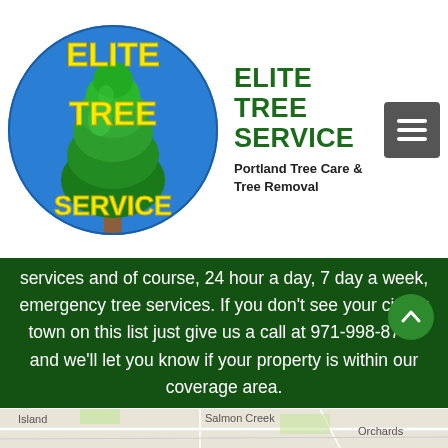[Figure (logo): Elite Tree Service circular logo with a large green tree on a blue background, with yellow bold text reading ELITE TREE SERVICE]
ELITE TREE SERVICE
Portland Tree Care & Tree Removal
services and of course, 24 hour a day, 7 day a week, emergency tree services. If you don't see your city or town on this list just give us a call at 971-998-8733 and we'll let you know if your property is within our coverage area.
[Figure (map): Partial map showing Salmon Creek, Orchards, and Island areas]